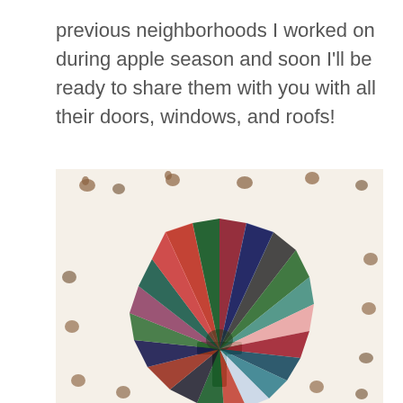previous neighborhoods I worked on during apple season and soon I'll be ready to share them with you with all their doors, windows, and roofs!
[Figure (photo): A colorful fan/pinwheel arrangement of fabric swatches with Christmas and holiday patterns (red, green, dark navy, black and white) spread out on a light cream fabric background printed with small hedgehogs, squirrels, acorns, and bears.]